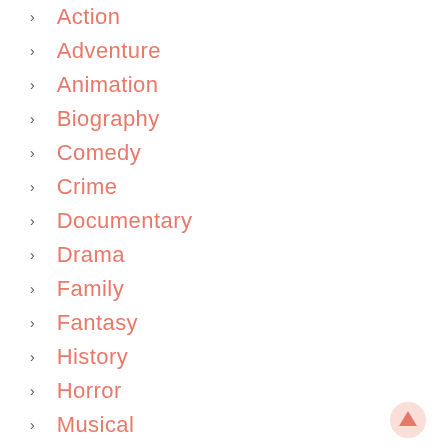Action
Adventure
Animation
Biography
Comedy
Crime
Documentary
Drama
Family
Fantasy
History
Horror
Musical
Mystery